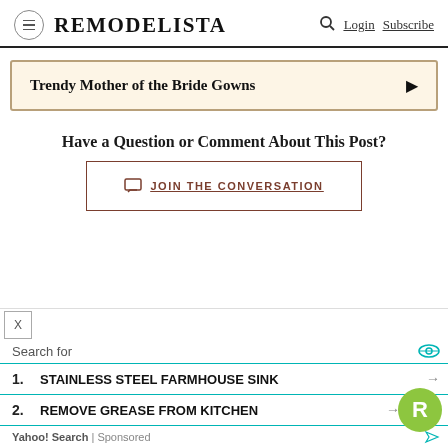REMODELISTA — Login Subscribe
[Figure (other): Advertisement banner: Trendy Mother of the Bride Gowns with arrow]
Have a Question or Comment About This Post?
JOIN THE CONVERSATION
[Figure (other): Bottom advertisement: Search for — 1. STAINLESS STEEL FARMHOUSE SINK — 2. REMOVE GREASE FROM KITCHEN — Yahoo! Search | Sponsored. With green R badge logo.]